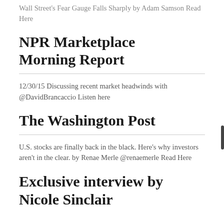Wall Street's Fear Gauge Falls Sharply by Adam Samson Read Here
NPR Marketplace Morning Report
12/30/15 Discussing recent market headwinds with @DavidBrancaccio Listen here
The Washington Post
U.S. stocks are finally back in the black. Here's why investors aren't in the clear. by Renae Merle @renaemerle Read Here
Exclusive interview by Nicole Sinclair